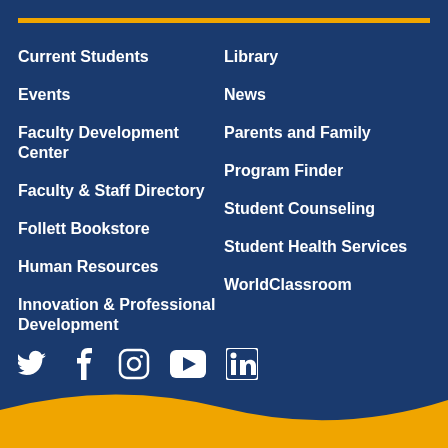Current Students
Events
Faculty Development Center
Faculty & Staff Directory
Follett Bookstore
Human Resources
Innovation & Professional Development
Library
News
Parents and Family
Program Finder
Student Counseling
Student Health Services
WorldClassroom
[Figure (infographic): Social media icons: Twitter, Facebook, Instagram, YouTube, LinkedIn]